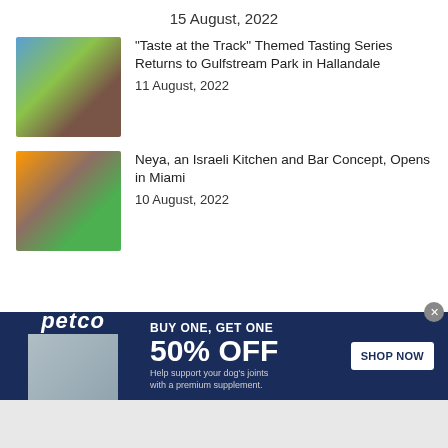15 August, 2022
[Figure (photo): Jockey riding horse at racetrack]
“Taste at the Track” Themed Tasting Series Returns to Gulfstream Park in Hallandale
11 August, 2022
[Figure (photo): Multiple food dishes on a table, overhead view]
Neya, an Israeli Kitchen and Bar Concept, Opens in Miami
10 August, 2022
[Figure (infographic): Petco advertisement: BUY ONE, GET ONE 50% OFF. Help support your dog's joints with a premium supplement. Shop Now button.]